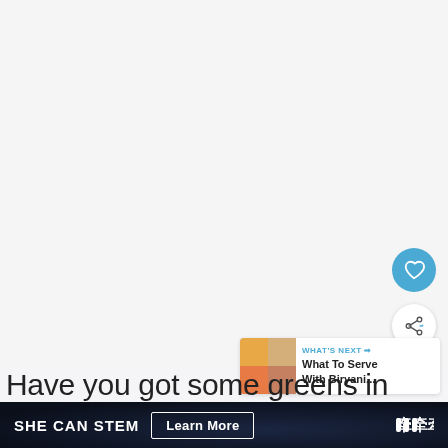[Figure (screenshot): Large light gray/white blank content area occupying the upper portion of the page, representing a video or image player area]
[Figure (illustration): Blue circular heart/favorite button icon on the right side]
[Figure (illustration): White circular share button icon on the right side below the heart button]
[Figure (infographic): WHAT'S NEXT panel with food thumbnail images showing 'What To Serve With Biryani...' text]
Have you got some greens in your fridge tha
SHE CAN STEM   Learn More   W°